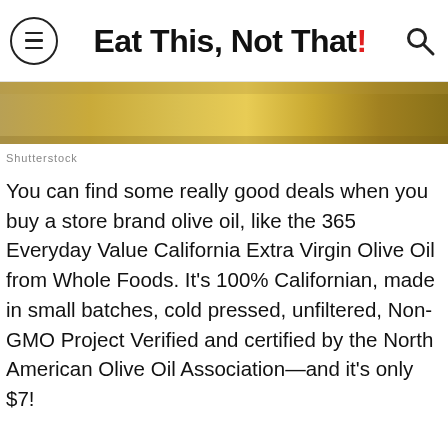Eat This, Not That!
[Figure (photo): Close-up photo of olive oil with golden/amber hues on a textured surface]
Shutterstock
You can find some really good deals when you buy a store brand olive oil, like the 365 Everyday Value California Extra Virgin Olive Oil from Whole Foods. It's 100% Californian, made in small batches, cold pressed, unfiltered, Non-GMO Project Verified and certified by the North American Olive Oil Association—and it's only $7!